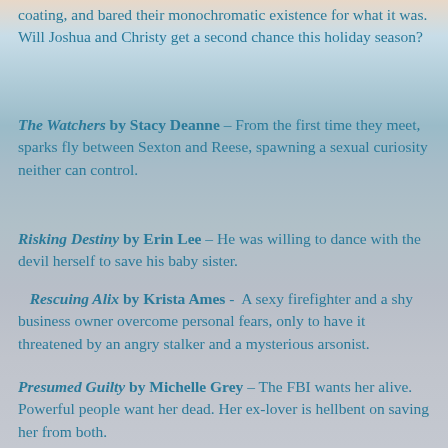coating, and bared their monochromatic existence for what it was. Will Joshua and Christy get a second chance this holiday season?
The Watchers by Stacy Deanne – From the first time they meet, sparks fly between Sexton and Reese, spawning a sexual curiosity neither can control.
Risking Destiny by Erin Lee – He was willing to dance with the devil herself to save his baby sister.
Rescuing Alix by Krista Ames -  A sexy firefighter and a shy business owner overcome personal fears, only to have it threatened by an angry stalker and a mysterious arsonist.
Presumed Guilty by Michelle Grey – The FBI wants her alive. Powerful people want her dead. Her ex-lover is hellbent on saving her from both.